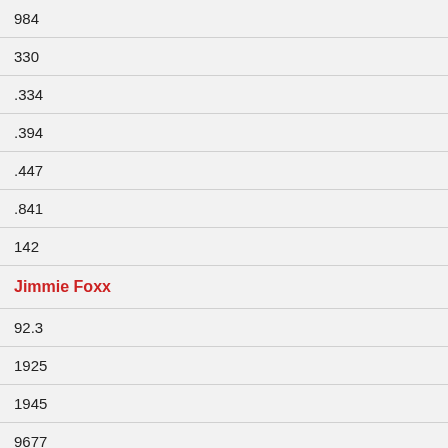| 984 |
| 330 |
| .334 |
| .394 |
| .447 |
| .841 |
| 142 |
| Jimmie Foxx |
| 92.3 |
| 1925 |
| 1945 |
| 9677 |
| 1751 |